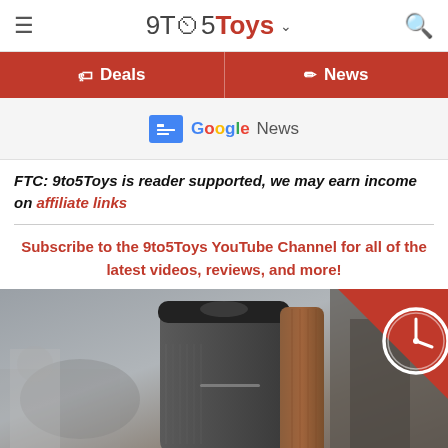9to5Toys
Deals | News
[Figure (logo): Google News badge/logo]
FTC: 9to5Toys is reader supported, we may earn income on affiliate links
Subscribe to the 9to5Toys YouTube Channel for all of the latest videos, reviews, and more!
[Figure (photo): A smart speaker with dark grey fabric grille and wood accent panel, photographed in a workshop/studio setting. A red clock/timer badge appears in the top-right corner.]